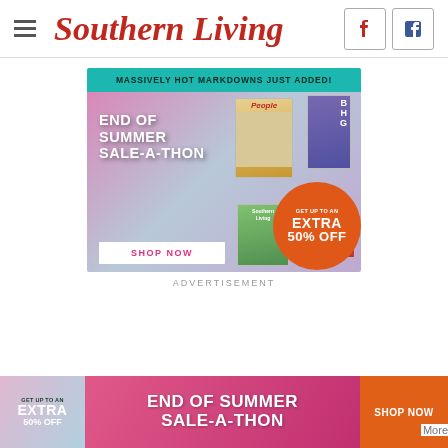Southern Living
[Figure (infographic): End of Summer Sale-A-Thon advertisement banner with teal top bar reading 'MASSIVELY HOT MARKDOWNS JUST ADDED!', gradient background with magazine covers (People, BHG, Southern Living, allrecipes), white 'SHOP NOW' button, and orange circle with 'GET UP TO AN EXTRA 50% OFF']
ADVERTISEMENT
[Figure (infographic): Bottom strip ad: gradient left section with 'GET UP TO AN EXTRA 50% OFF', pink center with 'END OF SUMMER SALE-A-THON', orange right button 'SHOP NOW']